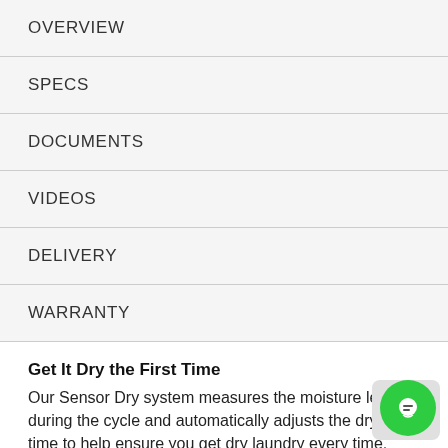OVERVIEW
SPECS
DOCUMENTS
VIDEOS
DELIVERY
WARRANTY
Get It Dry the First Time
Our Sensor Dry system measures the moisture levels during the cycle and automatically adjusts the drying time to help ensure you get dry laundry every time.
Get It All Done in Less Time
Ultra large capacity (7.3 cu ft.) means you have the